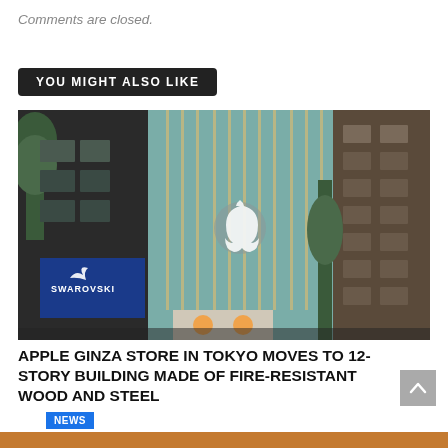Comments are closed.
YOU MIGHT ALSO LIKE
[Figure (photo): Exterior photo of Apple Ginza Store in Tokyo showing the glass facade with Apple logo, adjacent Swarovski store with blue signage, and neighboring multi-story brown building. NEWS badge visible in lower left corner.]
APPLE GINZA STORE IN TOKYO MOVES TO 12-STORY BUILDING MADE OF FIRE-RESISTANT WOOD AND STEEL